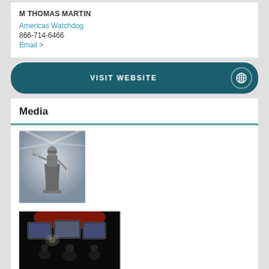M THOMAS MARTIN
Americas Watchdog
866-714-6466
Email >
VISIT WEBSITE
Media
[Figure (photo): Black and white photo of Lady Justice statue holding scales and sword]
[Figure (photo): Dark photo of people at news media desk with screens and lighting]